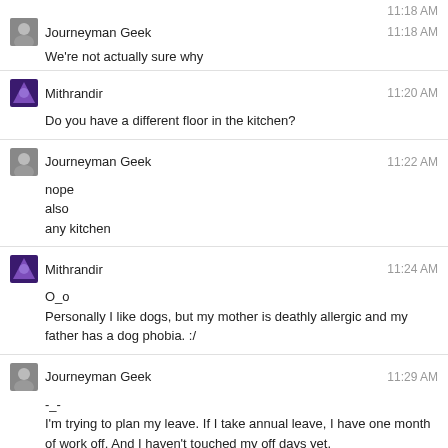We're not actually sure why — Journeyman Geek 11:18 AM
Do you have a different floor in the kitchen? — Mithrandir 11:20 AM
nope
also
any kitchen — Journeyman Geek 11:22 AM
O_o
Personally I like dogs, but my mother is deathly allergic and my father has a dog phobia. :/ — Mithrandir 11:24 AM
-_-
I'm trying to plan my leave. If I take annual leave, I have one month of work off. And I haven't touched my off days yet. — Journeyman Geek 11:29 AM
@JourneymanGeek That's pretty normal? A month/4 weeks of leave during the summer :) — Tinkeringbell 11:34 AM
Journeyman Geek 11:34 AM